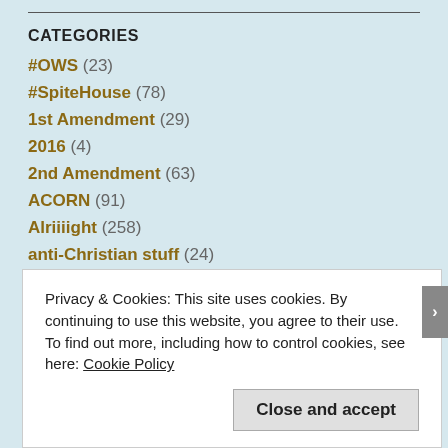CATEGORIES
#OWS (23)
#SpiteHouse (78)
1st Amendment (29)
2016 (4)
2nd Amendment (63)
ACORN (91)
Alriiiight (258)
anti-Christian stuff (24)
Antipope Bergoglio (1)
Awesome (398)
Awwwww! (138)
Privacy & Cookies: This site uses cookies. By continuing to use this website, you agree to their use.
To find out more, including how to control cookies, see here: Cookie Policy